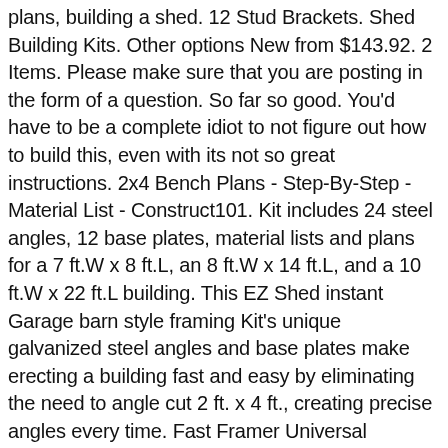plans, building a shed. 12 Stud Brackets. Shed Building Kits. Other options New from $143.92. 2 Items. Please make sure that you are posting in the form of a question. So far so good. You'd have to be a complete idiot to not figure out how to build this, even with its not so great instructions. 2x4 Bench Plans - Step-By-Step - Material List - Construct101. Kit includes 24 steel angles, 12 base plates, material lists and plans for a 7 ft.W x 8 ft.L, an 8 ft.W x 14 ft.L, and a 10 ft.W x 22 ft.L building. This EZ Shed instant Garage barn style framing Kit's unique galvanized steel angles and base plates make erecting a building fast and easy by eliminating the need to angle cut 2 ft. x 4 ft., creating precise angles every time. Fast Framer Universal Storage Shed Framing Kit — Universal Roof Reg. Unique galvanized steel angles and base plates make erecting a building fast and easy! Perfect for constructing a storage shed, tool shed, or mini-barn. Shed Kit Tools & Materials Recommendations. The Shed Shop handles all the details including site prep, concrete, electrical, permits, and dealing with the city Price includes local delivery and complete set-